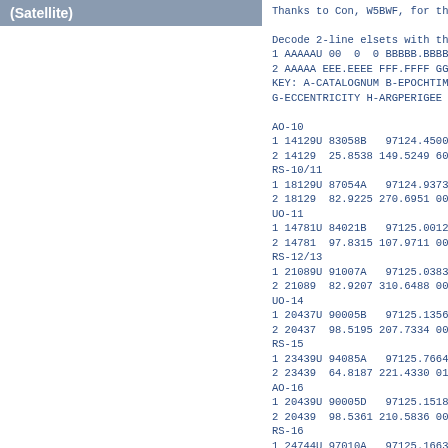(Satellite)
Thanks to Con, W5BWF, for the follo
Decode 2-line elsets with the foll
1 AAAAAU 00  0  0 BBBBB.BBBBBBBB
2 AAAAA EEE.EEEE FFF.FFFF GGGGGGG 
KEY: A-CATALOGNUM B-EPOCHTIME C-DE
G-ECCENTRICITY H-ARGPERIGEE I-MNAN
AO-10
1 14129U 83058B   97124.45006217 -
2 14129  25.8538 149.5249 6071356
RS-10/11
1 18129U 87054A   97124.93737856
2 18129  82.9225 270.6951 0012119
UO-11
1 14781U 84021B   97125.00121910
2 14781  97.8315 107.9711 0012024
RS-12/13
1 21089U 91007A   97125.03833808
2 21089  82.9207 310.6488 0030975
UO-14
1 20437U 90005B   97125.13565991
2 20437  98.5195 207.7334 0011098
RS-15
1 23439U 94085A   97125.76644345 -
2 23439  64.8187 221.4330 0150539
AO-16
1 20439U 90005D   97125.15183833 -
2 20439  98.5361 210.5836 0011663
RS-16
1 24744U 97010A   97125.16633404
2 24744  97.2790  31.0353 0005446